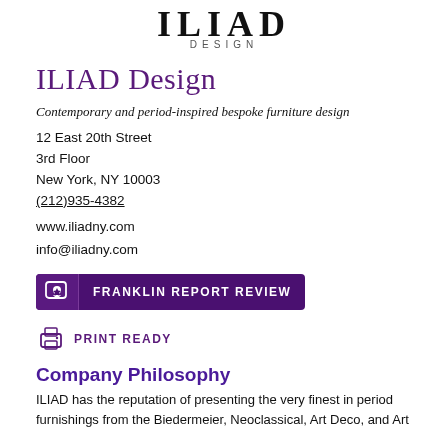[Figure (logo): ILIAD DESIGN logo — stylized text 'ILIAD' in large serif letters above smaller text 'DESIGN']
ILIAD Design
Contemporary and period-inspired bespoke furniture design
12 East 20th Street
3rd Floor
New York, NY 10003
(212)935-4382
www.iliadny.com
info@iliadny.com
[Figure (logo): Franklin Report Review badge — purple rectangular button with star-speech-bubble icon and text 'FRANKLIN REPORT REVIEW']
[Figure (logo): Print Ready badge — printer icon with text 'PRINT READY' in purple]
Company Philosophy
ILIAD has the reputation of presenting the very finest in period furnishings from the Biedermeier, Neoclassical, Art Deco, and Art